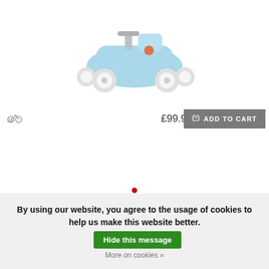[Figure (photo): Light blue children's ride-on toy car with four wheels, partially cropped at top]
£99.99  ADD TO CART
★★★★★
£99.99 Incl. tax  In stock
By using our website, you agree to the usage of cookies to help us make this website better.  Hide this message
More on cookies »